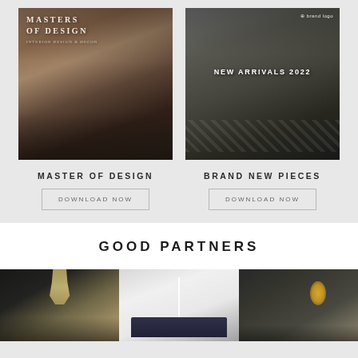[Figure (photo): Book cover showing interior dining room with pink/coral pendant lights, dark table and chairs, city view windows. Title reads MASTERS OF DESIGN.]
MASTER OF DESIGN
DOWNLOAD NOW
[Figure (photo): Catalog cover showing luxury furniture showroom with green velvet sofa, black and white zebra rug, hanging copper pendants. Text reads NEW ARRIVALS 2022.]
BRAND NEW PIECES
DOWNLOAD NOW
GOOD PARTNERS
[Figure (photo): Three side-by-side interior design partner images: left shows dark room with ornate gold chandelier and marble wall panel; center shows bright living room with navy sofa and artwork; right shows dark moody room with decorative wall sconce and mirror.]